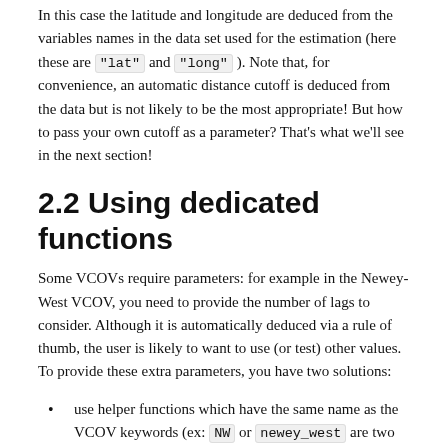In this case the latitude and longitude are deduced from the variables names in the data set used for the estimation (here these are "lat" and "long"). Note that, for convenience, an automatic distance cutoff is deduced from the data but is not likely to be the most appropriate! But how to pass your own cutoff as a parameter? That's what we'll see in the next section!
2.2 Using dedicated functions
Some VCOVs require parameters: for example in the Newey-West VCOV, you need to provide the number of lags to consider. Although it is automatically deduced via a rule of thumb, the user is likely to want to use (or test) other values. To provide these extra parameters, you have two solutions:
use helper functions which have the same name as the VCOV keywords (ex: NW or newey_west are two functions).
use dedicated VCOV functions (ex: vcov_NW ).
We now cover these two methods in turn. Helper functions can